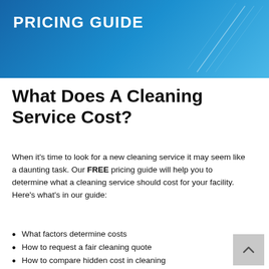[Figure (illustration): Blue gradient banner with white bold text reading 'PRICING GUIDE' and decorative diagonal lines on the right side]
What Does A Cleaning Service Cost?
When it's time to look for a new cleaning service it may seem like a daunting task. Our FREE pricing guide will help you to determine what a cleaning service should cost for your facility. Here's what's in our guide:
What factors determine costs
How to request a fair cleaning quote
How to compare hidden cost in cleaning